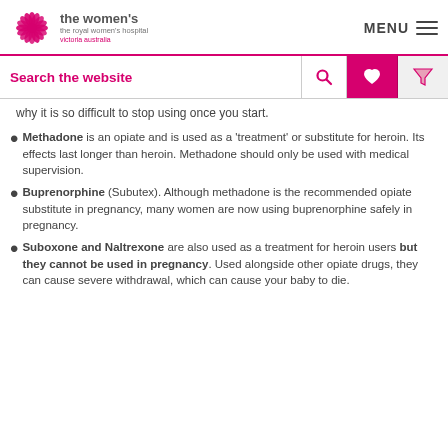the women's the royal women's hospital victoria australia | MENU
Search the website
why it is so difficult to stop using once you start.
Methadone is an opiate and is used as a 'treatment' or substitute for heroin. Its effects last longer than heroin. Methadone should only be used with medical supervision.
Buprenorphine (Subutex). Although methadone is the recommended opiate substitute in pregnancy, many women are now using buprenorphine safely in pregnancy.
Suboxone and Naltrexone are also used as a treatment for heroin users but they cannot be used in pregnancy. Used alongside other opiate drugs, they can cause severe withdrawal, which can cause your baby to die.